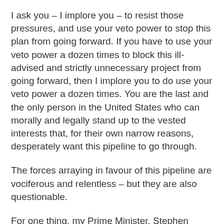I ask you – I implore you – to resist those pressures, and use your veto power to stop this plan from going forward. If you have to use your veto power a dozen times to block this ill-advised and strictly unnecessary project from going forward, then I implore you to do use your veto power a dozen times. You are the last and the only person in the United States who can morally and legally stand up to the vested interests that, for their own narrow reasons, desperately want this pipeline to go through.
The forces arraying in favour of this pipeline are vociferous and relentless – but they are also questionable.
For one thing, my Prime Minister, Stephen Harper, has invested much time and many taxpayer dollars in relentlessly and aggressively promoting this venture,